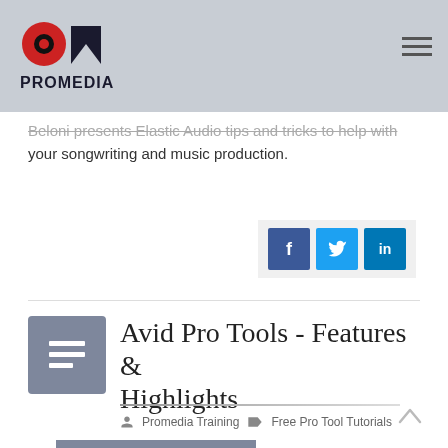PROMEDIA
Beloni presents Elastic Audio tips and tricks to help with your songwriting and music production.
[Figure (screenshot): Read More button (grey/blue) and social sharing icons for Facebook, Twitter, LinkedIn]
Avid Pro Tools - Features & Highlights
Promedia Training   Free Pro Tool Tutorials